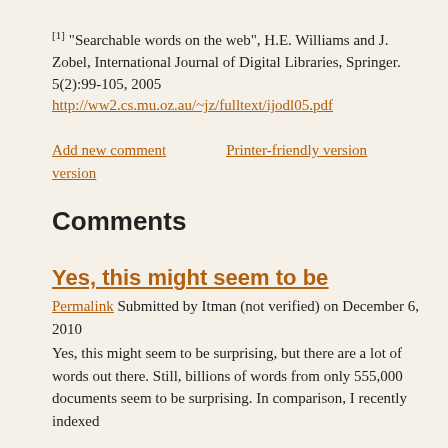[1] "Searchable words on the web", H.E. Williams and J. Zobel, International Journal of Digital Libraries, Springer. 5(2):99-105, 2005 http://ww2.cs.mu.oz.au/~jz/fulltext/ijodl05.pdf
Add new comment    Printer-friendly version
Comments
Yes, this might seem to be
Permalink Submitted by Itman (not verified) on December 6, 2010
Yes, this might seem to be surprising, but there are a lot of words out there. Still, billions of words from only 555,000 documents seem to be surprising. In comparison, I recently indexed